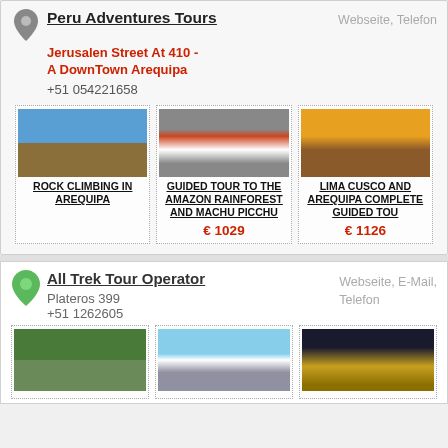Peru Adventures Tours
Jerusalen Street At 410 - A DownTown Arequipa
+51 054221658
Webseite, Telefon
[Figure (photo): White bird on rocks against blue sky]
ROCK CLIMBING IN AREQUIPA
[Figure (photo): Colorful macaws/parrots clustered together]
GUIDED TOUR TO THE AMAZON RAINFOREST AND MACHU PICCHU
€ 1029
[Figure (photo): Ancient ruins at sunset with mountains behind]
LIMA CUSCO AND AREQUIPA COMPLETE GUIDED TOU
€ 1126
All Trek Tour Operator
Plateros 399
+51 1262605
Webseite, E-Mail, Telefon
[Figure (photo): Machu Picchu ruins with mountain]
[Figure (photo): Mountain hikers in snow-capped peak area]
[Figure (photo): Illuminated church at night]